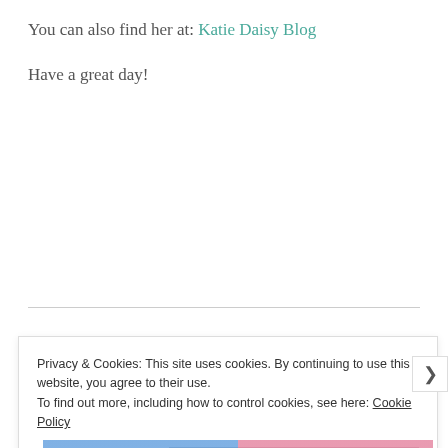You can also find her at: Katie Daisy Blog
Have a great day!
Privacy & Cookies: This site uses cookies. By continuing to use this website, you agree to their use.
To find out more, including how to control cookies, see here: Cookie Policy
Close and accept